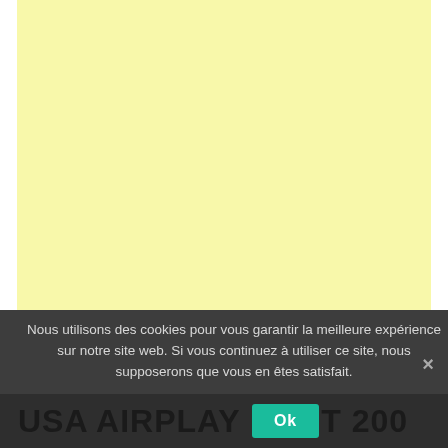[Figure (other): Large light yellow rectangle occupying the upper portion of the page, likely an advertisement or content area placeholder]
Nous utilisons des cookies pour vous garantir la meilleure expérience sur notre site web. Si vous continuez à utiliser ce site, nous supposerons que vous en êtes satisfait.
Ok
USA AIRPLAY T 200